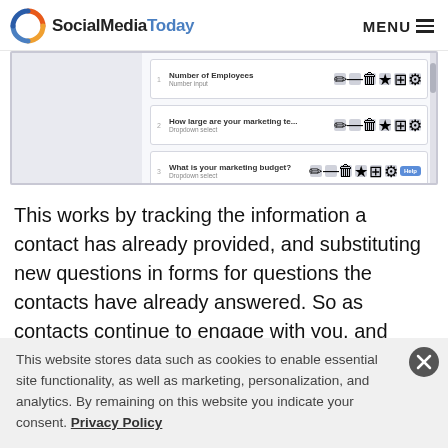SocialMediaToday  MENU
[Figure (screenshot): Screenshot of a form builder interface showing three form fields: 'Number of Employees', 'How large are your marketing te...', and 'What is your marketing budget?' each with edit/delete/star/copy icons and a Help button.]
This works by tracking the information a contact has already provided, and substituting new questions in forms for questions the contacts have already answered. So as contacts continue to engage with you, and move down your funnel, you learn more
This website stores data such as cookies to enable essential site functionality, as well as marketing, personalization, and analytics. By remaining on this website you indicate your consent. Privacy Policy